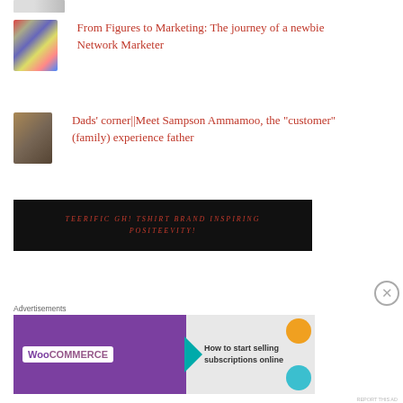[Figure (photo): Partial thumbnail image at top]
From Figures to Marketing: The journey of a newbie Network Marketer
Dads' corner||Meet Sampson Ammamoo, the "customer" (family) experience father
[Figure (other): Dark banner: TEERIFIC GH! TSHIRT BRAND INSPIRING POSITEEVITY!]
Advertisements
[Figure (other): WooCommerce advertisement: How to start selling subscriptions online]